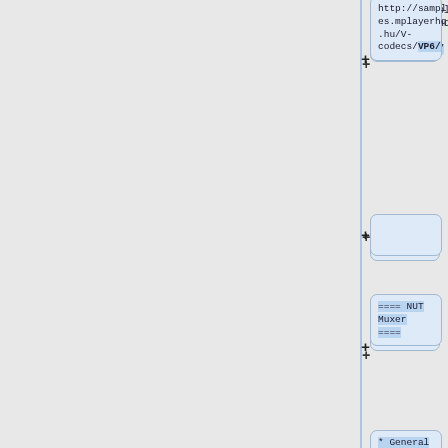http://samples.mplayerhq.hu/V-codecs/VP6/
==== NUT Muxer ====
* General improvements and enhancements
==== DPX/Cineon Encoder AND Decoder ====
* Specificatio